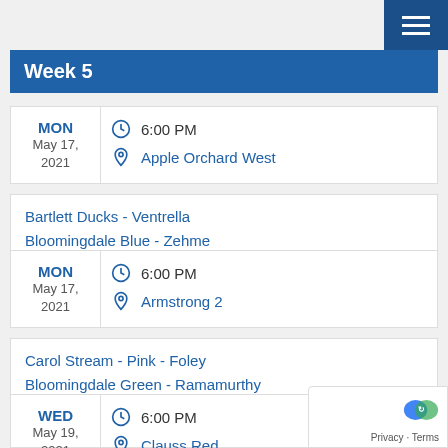Week 5
MON May 17, 2021 | 6:00 PM | Apple Orchard West
Bartlett Ducks - Ventrella
Bloomingdale Blue - Zehme
MON May 17, 2021 | 6:00 PM | Armstrong 2
Carol Stream - Pink - Foley
Bloomingdale Green - Ramamurthy
WED May 19, 2021 | 6:00 PM | Clauss Red